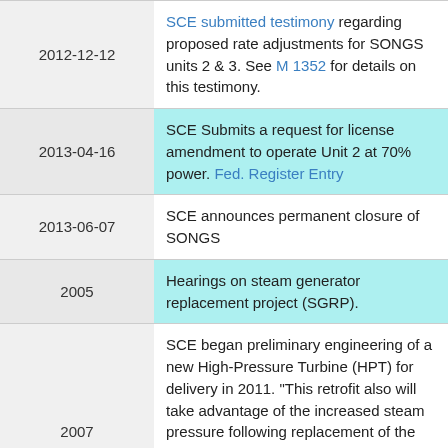| Date | Event |
| --- | --- |
| 2012-12-12 | SCE submitted testimony regarding proposed rate adjustments for SONGS units 2 & 3. See M 1352 for details on this testimony. |
| 2013-04-16 | SCE Submits a request for license amendment to operate Unit 2 at 70% power. Fed. Register Entry |
| 2013-06-07 | SCE announces permanent closure of SONGS |
| 2005 | Hearings on steam generator replacement project (SGRP). |
| 2007 | SCE began preliminary engineering of a new High-Pressure Turbine (HPT) for delivery in 2011. "This retrofit also will take advantage of the increased steam pressure following replacement of the SONGS Steam Generators. See D.05-12-040" (SGRP). This quote from footnote 10 of "SCE 09: Generation, volume 5... |